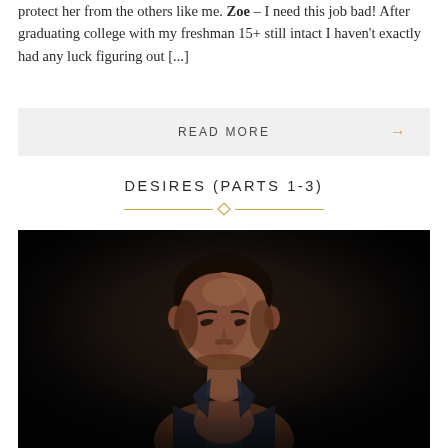protect her from the others like me. Zoe – I need this job bad! After graduating college with my freshman 15+ still intact I haven't exactly had any luck figuring out [...]
READ MORE →
DESIRES (PARTS 1-3)
[Figure (photo): Dark moody portrait of a young man with short dark hair, looking downward, wearing a dark open-collar shirt, against a very dark background]